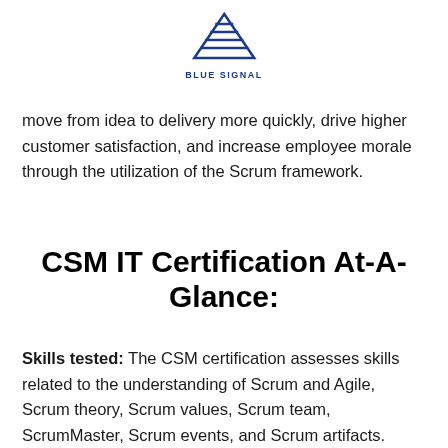[Figure (logo): Blue Signal logo with blue triangular/flag icon above text 'BLUE SIGNAL']
move from idea to delivery more quickly, drive higher customer satisfaction, and increase employee morale through the utilization of the Scrum framework.
CSM IT Certification At-A-Glance:
Skills tested: The CSM certification assesses skills related to the understanding of Scrum and Agile, Scrum theory, Scrum values, Scrum team, ScrumMaster, Scrum events, and Scrum artifacts. Scrum Alliance's content outline breaks down these domains further.